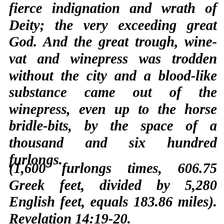fierce indignation and wrath of Deity; the very exceeding great God. And the great trough, wine-vat and winepress was trodden without the city and a blood-like substance came out of the winepress, even up to the horse bridle-bits, by the space of a thousand and six hundred furlongs.
(1,600 furlongs times, 606.75 Greek feet, divided by 5,280 English feet, equals 183.86 miles). Revelation 14:19-20.